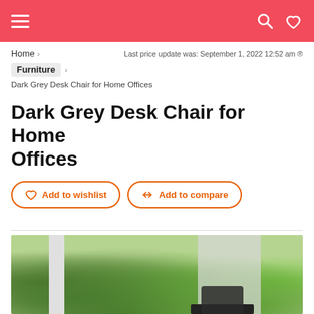Navigation header with hamburger menu, search and wishlist icons
Home > Last price update was: September 1, 2022 12:52 am ®
Furniture >
Dark Grey Desk Chair for Home Offices
Dark Grey Desk Chair for Home Offices
Add to wishlist   Add to compare
[Figure (photo): Photo of a dark grey office desk chair in front of a window with green foliage visible outside]